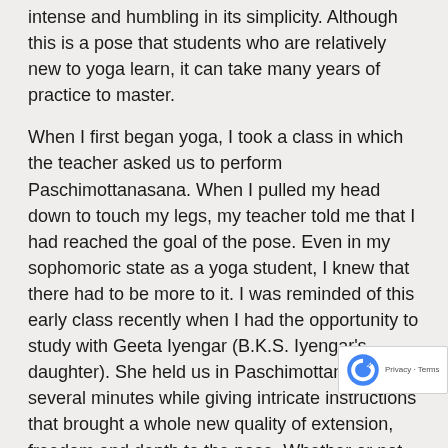intense and humbling in its simplicity. Although this is a pose that students who are relatively new to yoga learn, it can take many years of practice to master.
When I first began yoga, I took a class in which the teacher asked us to perform Paschimottanasana. When I pulled my head down to touch my legs, my teacher told me that I had reached the goal of the pose. Even in my sophomoric state as a yoga student, I knew that there had to be more to it. I was reminded of this early class recently when I had the opportunity to study with Geeta Iyengar (B.K.S. Iyengar's daughter). She held us in Paschimottanasana for several minutes while giving intricate instructions that brought a whole new quality of extension, freedom and depth to the pose. Whether or not you can bring your torso and head in contact with your legs, you can experience inner space and deeper insight through the practice of this pose.
In Paschimottanasana, you are folded upon yourself naturally introverted state. The work in this inward p requires patience and discipline. In yoga philosophy th consists of what B.K.S. Iyengar refers to as the two wings of